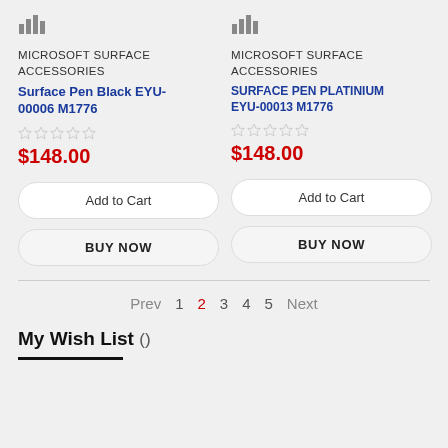[Figure (other): Bar chart icon placeholder for product image (left product)]
[Figure (other): Bar chart icon placeholder for product image (right product)]
MICROSOFT SURFACE ACCESSORIES
Surface Pen Black EYU-00006 M1776
$148.00
Add to Cart
BUY NOW
MICROSOFT SURFACE ACCESSORIES
SURFACE PEN PLATINIUM EYU-00013 M1776
$148.00
Add to Cart
BUY NOW
Prev  1  2  3  4  5  Next
My Wish List ()